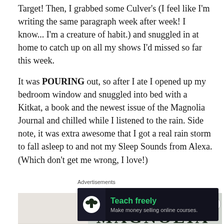Target! Then, I grabbed some Culver's (I feel like I'm writing the same paragraph week after week! I know... I'm a creature of habit.) and snuggled in at home to catch up on all my shows I'd missed so far this week.
It was POURING out, so after I ate I opened up my bedroom window and snuggled into bed with a Kitkat, a book and the newest issue of the Magnolia Journal and chilled while I listened to the rain. Side note, it was extra awesome that I got a real rain storm to fall asleep to and not my Sleep Sounds from Alexa. (Which don't get me wrong, I love!)
[Figure (photo): Photo of a Magnolia Journal magazine cover resting on white fabric/bedding]
Advertisements
[Figure (infographic): Advertisement banner with dark background showing a tree/person icon, 'Teach freely' in green text, and 'Make money selling online courses.' in gray text]